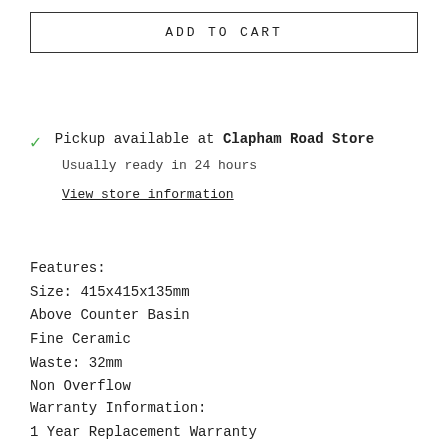ADD TO CART
Pickup available at Clapham Road Store
Usually ready in 24 hours
View store information
Features:
Size: 415x415x135mm
Above Counter Basin
Fine Ceramic
Waste: 32mm
Non Overflow
Warranty Information:
1 Year Replacement Warranty